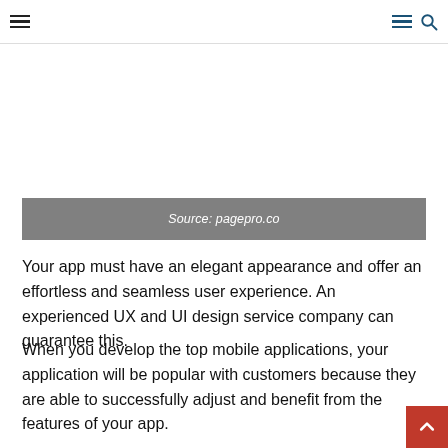≡  ≡ 🔍
[Figure (other): Gray source bar over an image placeholder area showing 'Source: pagepro.co']
Source: pagepro.co
Your app must have an elegant appearance and offer an effortless and seamless user experience. An experienced UX and UI design service company can guarantee this.
When you develop the top mobile applications, your application will be popular with customers because they are able to successfully adjust and benefit from the features of your app.